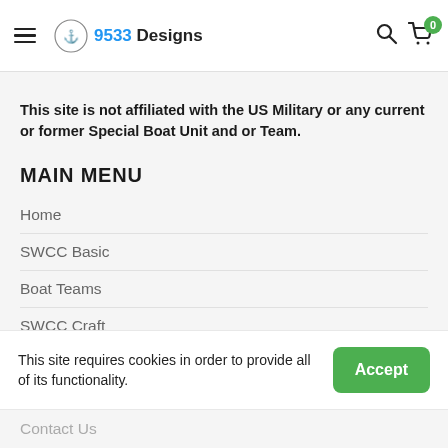9533 Designs
This site is not affiliated with the US Military or any current or former Special Boat Unit and or Team.
MAIN MENU
Home
SWCC Basic
Boat Teams
SWCC Craft
Custom Work
This site requires cookies in order to provide all of its functionality.
Contact Us